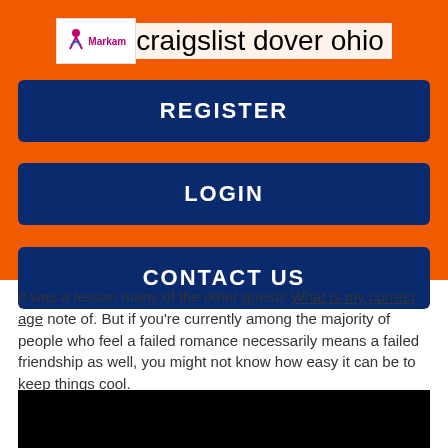craigslist dover ohio
REGISTER
LOGIN
CONTACT US
It was a lesson many of the other guests What is my correct age note of. But if you're currently among the majority of people who feel a failed romance necessarily means a failed friendship as well, you might not know how easy it can be to keep things cool.
[Figure (photo): Black rectangle image at bottom of page]